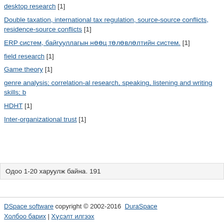desktop research [1]
Double taxation, international tax regulation, source-source conflicts, residence-source conflicts [1]
ERP систем, байгууллагын нөөц төлөвлөлтийн систем. [1]
field research [1]
Game theory [1]
genre analysis; correlation-al research, speaking, listening and writing skills; b...
HDHT [1]
Inter-organizational trust [1]
Одоо 1-20 харуулж байна. 191
DSpace software copyright © 2002-2016  DuraSpace
Холбоо барих | Хүсэлт илгээх